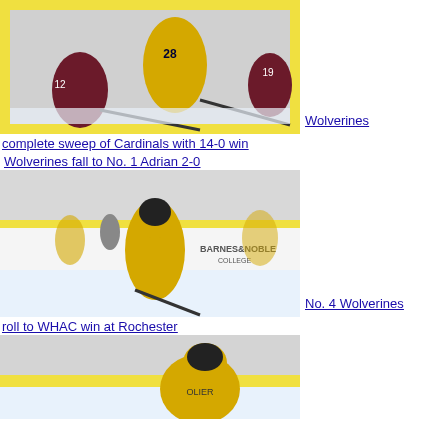[Figure (photo): Hockey game photo showing Michigan Wolverines player #28 in yellow jersey competing with Cardinals players in maroon jerseys on ice rink]
Wolverines complete sweep of Cardinals with 14-0 win
Wolverines fall to No. 1 Adrian 2-0
[Figure (photo): Hockey game photo showing Michigan Wolverines player in yellow jersey skating on ice with Barnes & Noble College signage in background]
No. 4 Wolverines roll to WHAC win at Rochester
[Figure (photo): Partial hockey game photo showing Michigan Wolverines player in yellow jersey on ice rink]